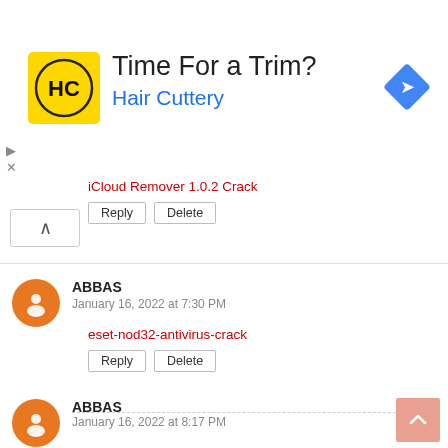[Figure (infographic): Ad banner: Hair Cuttery logo (HC in yellow square), text 'Time For a Trim? Hair Cuttery', blue diamond nav icon on right. Small play/close controls on left.]
iCloud Remover 1.0.2 Crack
Reply  Delete
ABBAS
January 16, 2022 at 7:30 PM
eset-nod32-antivirus-crack
Reply  Delete
ABBAS
January 16, 2022 at 8:17 PM
nord-vpn-premium-accounts
✕ CLOSE
Reply  Delete
VISIT US
January 18, 2022 at 7:08 PM